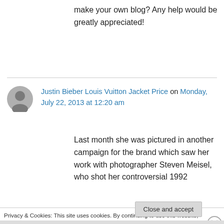make your own blog? Any help would be greatly appreciated!
Justin Bieber Louis Vuitton Jacket Price on Monday, July 22, 2013 at 12:20 am
Last month she was pictured in another campaign for the brand which saw her work with photographer Steven Meisel, who shot her controversial 1992
Privacy & Cookies: This site uses cookies. By continuing to use this website, you agree to their use.
To find out more, including how to control cookies, see here: Cookie Policy